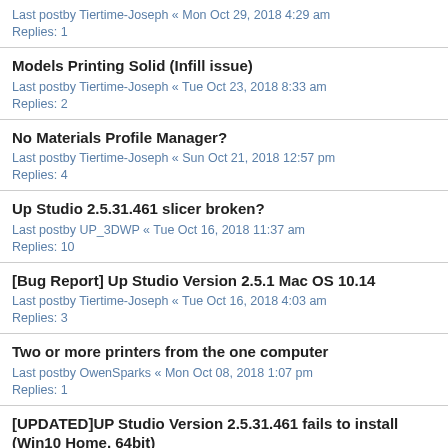Last postby Tiertime-Joseph « Mon Oct 29, 2018 4:29 am
Replies: 1
Models Printing Solid (Infill issue)
Last postby Tiertime-Joseph « Tue Oct 23, 2018 8:33 am
Replies: 2
No Materials Profile Manager?
Last postby Tiertime-Joseph « Sun Oct 21, 2018 12:57 pm
Replies: 4
Up Studio 2.5.31.461 slicer broken?
Last postby UP_3DWP « Tue Oct 16, 2018 11:37 am
Replies: 10
[Bug Report] Up Studio Version 2.5.1 Mac OS 10.14
Last postby Tiertime-Joseph « Tue Oct 16, 2018 4:03 am
Replies: 3
Two or more printers from the one computer
Last postby OwenSparks « Mon Oct 08, 2018 1:07 pm
Replies: 1
[UPDATED]UP Studio Version 2.5.31.461 fails to install (Win10 Home, 64bit)
Last postby kcarbuncle « Sun Oct 07, 2018 9:35 pm
No Profiles Manager in 2.5 for MAC - CANNOT make any adjustments to filament specifications
Last postby Tiertime-Joseph « Sat Oct 06, 2018 3:47 pm